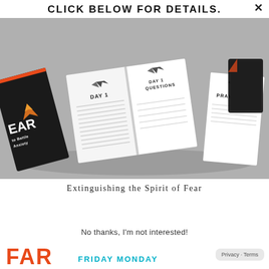CLICK BELOW FOR DETAILS.
[Figure (photo): Spread of open books showing 'Day 1', 'Day 1 Questions', 'Prayer' pages alongside a dark-cover book titled 'Extinguishing the Spirit of Fear — to Battle Anxiety']
Extinguishing the Spirit of Fear
No thanks, I'm not interested!
Privacy · Terms
FAR
FRIDAY MONDAY